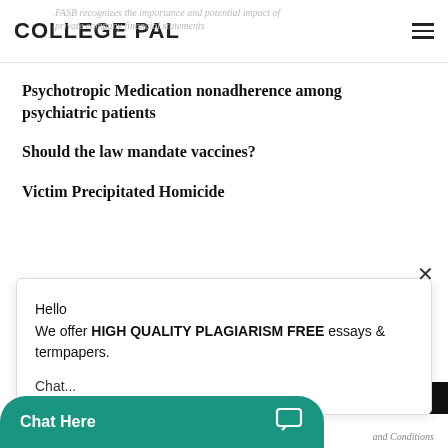COLLEGE PAL
FASB recognizes the importance and potential impact of private company financial statements
Psychotropic Medication nonadherence among psychiatric patients
Should the law mandate vaccines?
Victim Precipitated Homicide
×
Hello
We offer HIGH QUALITY PLAGIARISM FREE essays & termpapers.

Chat...
Chat Here
and Conditions